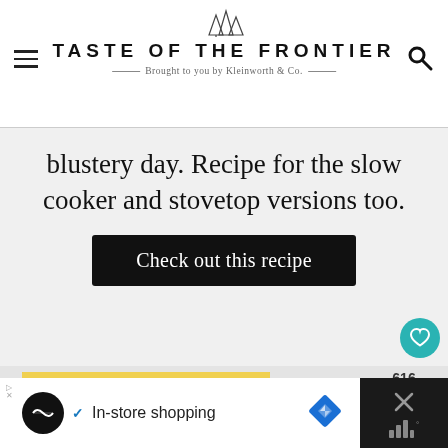TASTE OF THE FRONTIER — Brought to you by Kleinworth & Co.
blustery day. Recipe for the slow cooker and stovetop versions too.
Check out this recipe
[Figure (photo): Close-up photo of corn on the cob and creamy corn dish with herbs, watermarked Kleinworth & Co.]
616
WHAT'S NEXT → Instant Pot Chicken...
In-store shopping